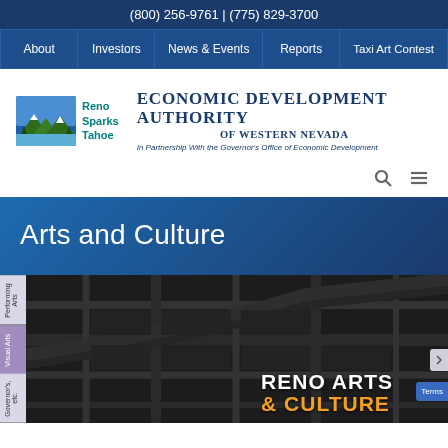(800) 256-9761 | (775) 829-3700
About
Investors
News & Events
Reports
Taxi Art Contest
[Figure (logo): Reno Sparks Tahoe logo with mountain/lake scene and teal text, alongside Economic Development Authority of Western Nevada title with tagline 'In Partnership With the Governor's Office of Economic Development']
Arts and Culture
[Figure (photo): Dark overhead map of Reno city streets with 'RENO ARTS & CULTURE' text overlay in white and orange, with vertical side navigation tabs]